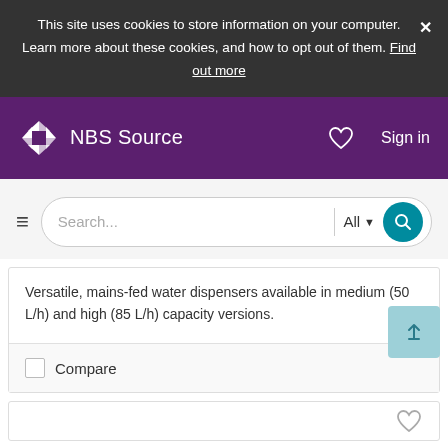This site uses cookies to store information on your computer. Learn more about these cookies, and how to opt out of them. Find out more
NBS Source  Sign in
[Figure (screenshot): NBS Source website navigation bar with logo, heart icon, and sign in button on purple background]
Search... All
Versatile, mains-fed water dispensers available in medium (50 L/h) and high (85 L/h) capacity versions.
Compare